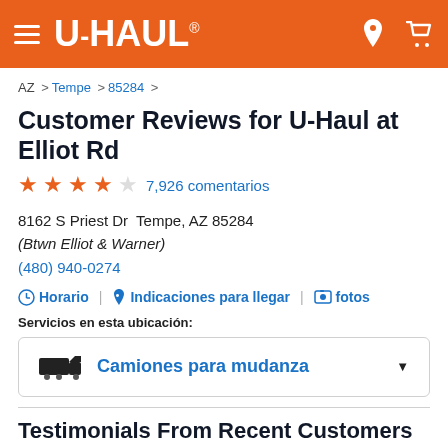U-HAUL
AZ > Tempe > 85284 >
Customer Reviews for U-Haul at Elliot Rd
4.5 stars — 7,926 comentarios
8162 S Priest Dr  Tempe, AZ 85284
(Btwn Elliot & Warner)
(480) 940-0274
Horario | Indicaciones para llegar | fotos
Servicios en esta ubicación:
Camiones para mudanza
Testimonials From Recent Customers